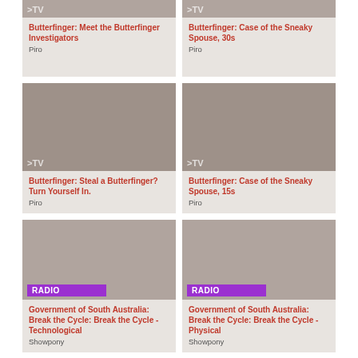[Figure (other): TV thumbnail placeholder, dark beige, label >TV]
Butterfinger: Meet the Butterfinger Investigators
Piro
[Figure (other): TV thumbnail placeholder, dark beige, label >TV]
Butterfinger: Case of the Sneaky Spouse, 30s
Piro
[Figure (other): TV thumbnail placeholder, medium beige, label >TV]
Butterfinger: Steal a Butterfinger? Turn Yourself In.
Piro
[Figure (other): TV thumbnail placeholder, medium beige, label >TV]
Butterfinger: Case of the Sneaky Spouse, 15s
Piro
[Figure (other): Radio thumbnail placeholder, beige, label RADIO in purple]
Government of South Australia: Break the Cycle: Break the Cycle - Technological
Showpony
[Figure (other): Radio thumbnail placeholder, beige, label RADIO in purple]
Government of South Australia: Break the Cycle: Break the Cycle - Physical
Showpony